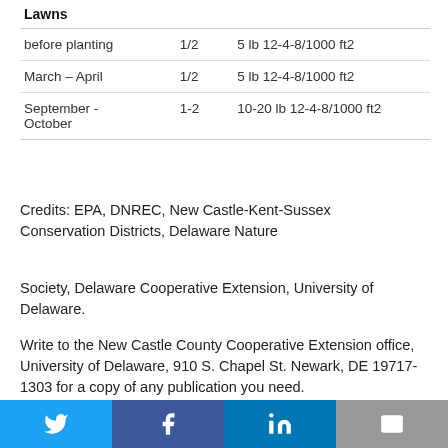| Lawns |  |  |
| --- | --- | --- |
| before planting | 1/2 | 5 lb 12-4-8/1000 ft2 |
| March – April | 1/2 | 5 lb 12-4-8/1000 ft2 |
| September - October | 1-2 | 10-20 lb 12-4-8/1000 ft2 |
Credits: EPA, DNREC, New Castle-Kent-Sussex Conservation Districts, Delaware Nature Society, Delaware Cooperative Extension, University of Delaware.
Write to the New Castle County Cooperative Extension office, University of Delaware, 910 S. Chapel St. Newark, DE 19717-1303 for a copy of any publication you need.
Revision Date: 11/19/2012